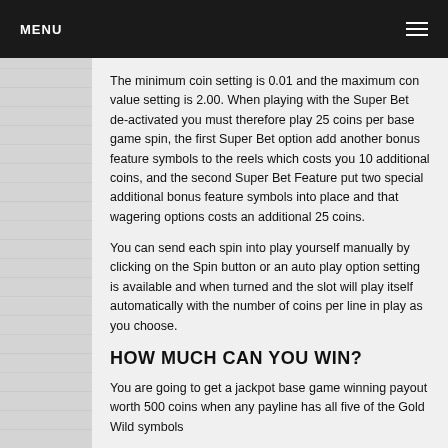MENU
The minimum coin setting is 0.01 and the maximum con value setting is 2.00. When playing with the Super Bet de-activated you must therefore play 25 coins per base game spin, the first Super Bet option add another bonus feature symbols to the reels which costs you 10 additional coins, and the second Super Bet Feature put two special additional bonus feature symbols into place and that wagering options costs an additional 25 coins.
You can send each spin into play yourself manually by clicking on the Spin button or an auto play option setting is available and when turned and the slot will play itself automatically with the number of coins per line in play as you choose.
HOW MUCH CAN YOU WIN?
You are going to get a jackpot base game winning payout worth 500 coins when any payline has all five of the Gold Wild symbols